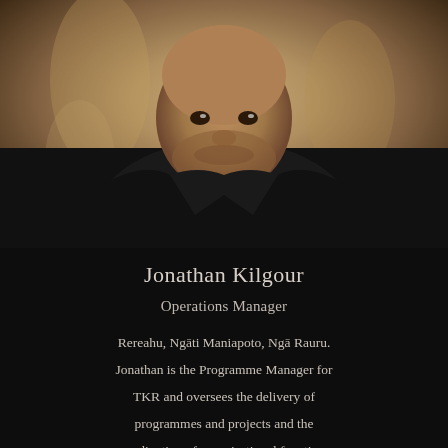[Figure (photo): Professional headshot of Jonathan Kilgour, a Māori man in a dark suit and dark shirt, smiling, with carved wooden artwork visible in the background.]
Jonathan Kilgour
Operations Manager
Rereahu, Ngāti Maniapoto, Ngā Rauru. Jonathan is the Programme Manager for TKR and oversees the delivery of programmes and projects and the coordination of organisational functions. He is also a data technician with experience in statistical development for